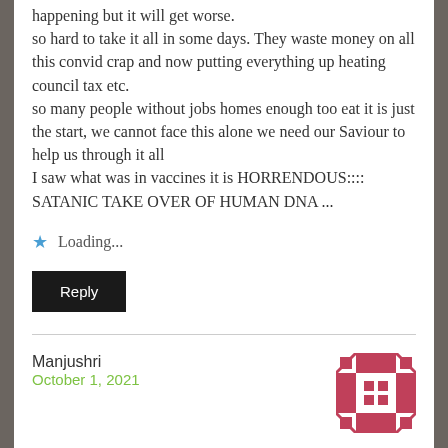happening but it will get worse.
so hard to take it all in some days. They waste money on all this convid crap and now putting everything up heating council tax etc.
so many people without jobs homes enough too eat it is just the start, we cannot face this alone we need our Saviour to help us through it all
I saw what was in vaccines it is HORRENDOUS::::
SATANIC TAKE OVER OF HUMAN DNA ...
Loading...
Reply
Manjushri
October 1, 2021
[Figure (other): User avatar/gravatar icon with pink and white geometric pattern]
Mocking us and trying to dumb down normals even further.